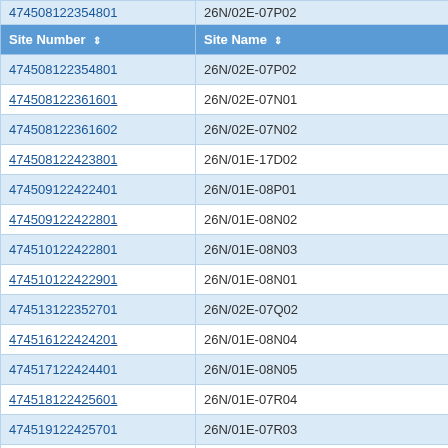| Site Number | Site Name |
| --- | --- |
| 474508122354801 | 26N/02E-07P02 |
| 474508122361601 | 26N/02E-07N01 |
| 474508122361602 | 26N/02E-07N02 |
| 474508122423801 | 26N/01E-17D02 |
| 474509122422401 | 26N/01E-08P01 |
| 474509122422801 | 26N/01E-08N02 |
| 474510122422801 | 26N/01E-08N03 |
| 474510122422901 | 26N/01E-08N01 |
| 474513122352701 | 26N/02E-07Q02 |
| 474516122424201 | 26N/01E-08N04 |
| 474517122424401 | 26N/01E-08N05 |
| 474518122425601 | 26N/01E-07R04 |
| 474519122425701 | 26N/01E-07R03 |
| 474522122403501 | 26N/01E-09K02 |
| 474523122410901 | 26N/01E-09M01 |